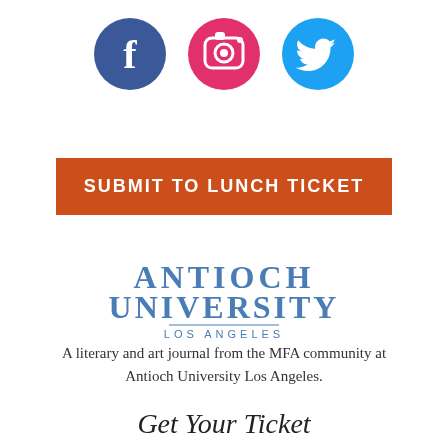[Figure (logo): Three social media icons: Facebook (dark blue circle with white 'f'), Instagram (pink/red circle with camera icon), Twitter (light blue circle with white bird)]
SUBMIT TO LUNCH TICKET
[Figure (logo): Antioch University Los Angeles logo with serif text in blue: ANTIOCH UNIVERSITY on two lines, LOS ANGELES below with a dividing line]
A literary and art journal from the MFA community at Antioch University Los Angeles.
Get Your Ticket